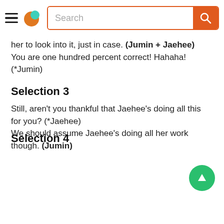[Figure (screenshot): Mobile app header bar with hamburger menu icon, orange-and-teal logo, search bar with orange border and placeholder text 'Search', and orange search button with magnifying glass icon]
her to look into it, just in case. (Jumin + Jaehee) You are one hundred percent correct! Hahaha! (*Jumin)
Selection 3
Still, aren't you thankful that Jaehee's doing all this for you? (*Jaehee)
We should assume Jaehee's doing all her work though. (Jumin)
Selection 4